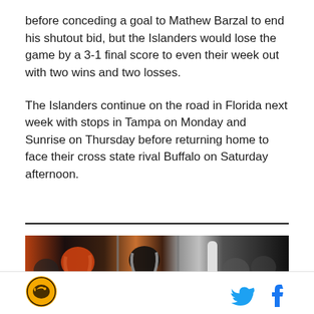before conceding a goal to Mathew Barzal to end his shutout bid, but the Islanders would lose the game by a 3-1 final score to even their week out with two wins and two losses.
The Islanders continue on the road in Florida next week with stops in Tampa on Monday and Sunrise on Thursday before returning home to face their cross state rival Buffalo on Saturday afternoon.
[Figure (photo): Crowd scene at a hockey game, fans cheering behind the glass, player visible with hockey stick]
[Figure (logo): SB Nation / sports blog logo — circular gold and black emblem with stylized bird]
[Figure (other): Twitter bird icon in blue and Facebook 'f' icon in blue, social sharing icons]